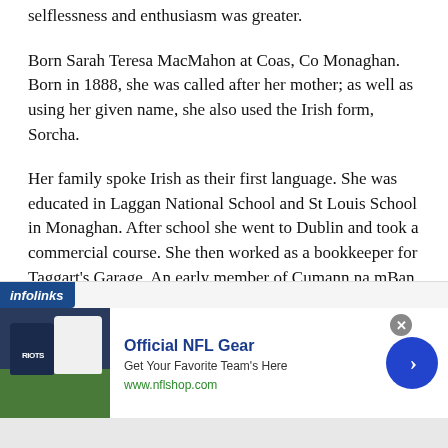selflessness and enthusiasm was greater.
Born Sarah Teresa MacMahon at Coas, Co Monaghan. Born in 1888, she was called after her mother; as well as using her given name, she also used the Irish form, Sorcha.
Her family spoke Irish as their first language. She was educated in Laggan National School and St Louis School in Monaghan. After school she went to Dublin and took a commercial course. She then worked as a bookkeeper for Taggart's Garage. An early member of Cumann na mBan, in 1914 MacMahon was the local secretary of the Central Branch and was secretary nationally in 1916.
[Figure (other): Infolinks advertisement banner for Official NFL Gear featuring jersey images, text 'Get Your Favorite Team's Here' and www.nflshop.com URL, with a blue arrow navigation button and close button.]